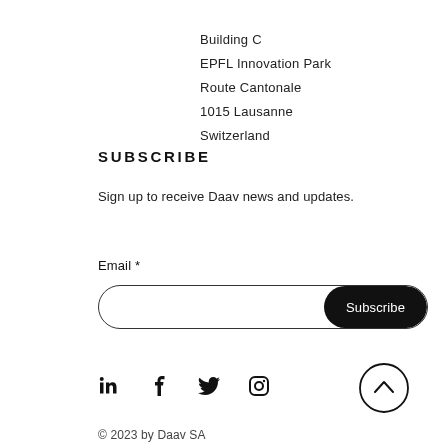Building C
EPFL Innovation Park
Route Cantonale
1015 Lausanne
Switzerland
SUBSCRIBE
Sign up to receive Daav news and updates.
Email *
[Figure (other): Email input field with Subscribe button]
[Figure (other): Social media icons: LinkedIn, Facebook, Twitter, Instagram; and a scroll-to-top circle button with chevron]
© 2023 by Daav SA